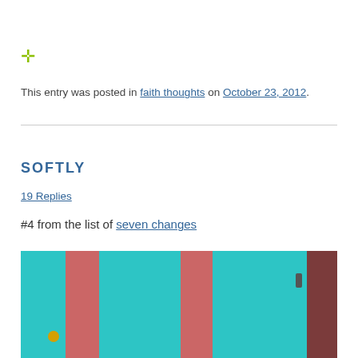[Figure (other): Green crosshair / move cursor icon]
This entry was posted in faith thoughts on October 23, 2012.
SOFTLY
19 Replies
#4 from the list of seven changes
[Figure (photo): Colorful door photo with teal/cyan panels and red vertical stripes, partial view]